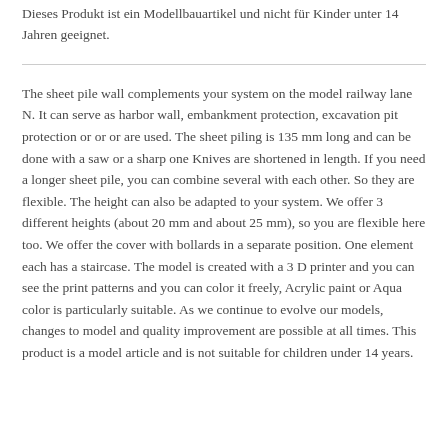Dieses Produkt ist ein Modellbauartikel und nicht für Kinder unter 14 Jahren geeignet.
The sheet pile wall complements your system on the model railway lane N. It can serve as harbor wall, embankment protection, excavation pit protection or or or are used. The sheet piling is 135 mm long and can be done with a saw or a sharp one Knives are shortened in length. If you need a longer sheet pile, you can combine several with each other. So they are flexible. The height can also be adapted to your system. We offer 3 different heights (about 20 mm and about 25 mm), so you are flexible here too. We offer the cover with bollards in a separate position. One element each has a staircase. The model is created with a 3 D printer and you can see the print patterns and you can color it freely, Acrylic paint or Aqua color is particularly suitable. As we continue to evolve our models, changes to model and quality improvement are possible at all times. This product is a model article and is not suitable for children under 14 years.